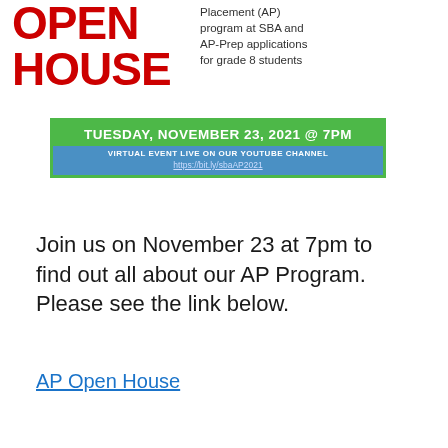[Figure (infographic): Open House flyer banner with red 'OPEN HOUSE' text on the left and descriptive text about AP Program on the right, followed by a green/blue event date banner for Tuesday, November 23, 2021 @ 7PM with YouTube channel link.]
Join us on November 23 at 7pm to find out all about our AP Program.  Please see the link below.
AP Open House